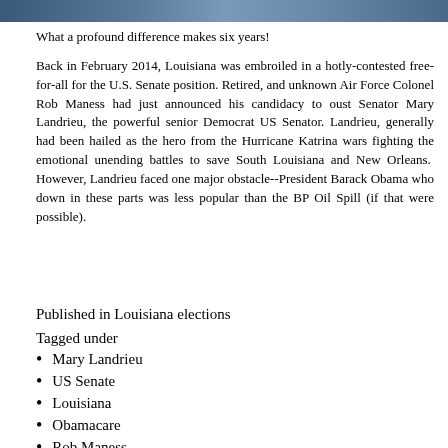[Figure (photo): Partial image strip at the top of the page showing what appears to be people or a scene, partially cropped]
What a profound difference makes six years!
Back in February 2014, Louisiana was embroiled in a hotly-contested free-for-all for the U.S. Senate position. Retired, and unknown Air Force Colonel Rob Maness had just announced his candidacy to oust Senator Mary Landrieu, the powerful senior Democrat US Senator. Landrieu, generally had been hailed as the hero from the Hurricane Katrina wars fighting the emotional unending battles to save South Louisiana and New Orleans.  However, Landrieu faced one major obstacle--President Barack Obama who down in these parts was less popular than the BP Oil Spill (if that were possible).
Published in Louisiana elections
Tagged under
Mary Landrieu
US Senate
Louisiana
Obamacare
Rob Maness